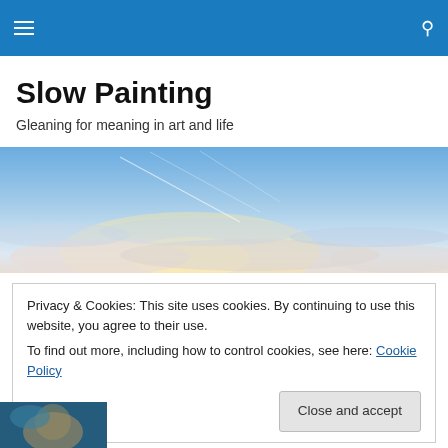Slow Painting — navigation header with hamburger menu and search icon
Slow Painting
Gleaning for meaning in art and life
[Figure (photo): Wide panoramic sky image showing clouds and sunlight with blue sky and contrails]
Privacy & Cookies: This site uses cookies. By continuing to use this website, you agree to their use.
To find out more, including how to control cookies, see here: Cookie Policy
[Figure (photo): Partial view of a painting visible at bottom left corner]